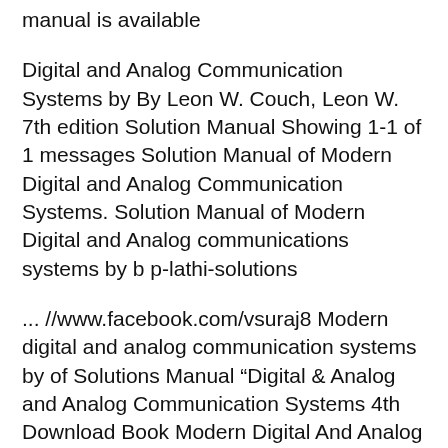manual is available
Digital and Analog Communication Systems by By Leon W. Couch, Leon W. 7th edition Solution Manual Showing 1-1 of 1 messages Solution Manual of Modern Digital and Analog Communication Systems. Solution Manual of Modern Digital and Analog communications systems by b p-lathi-solutions
... //www.facebook.com/vsuraj8 Modern digital and analog communication systems by of Solutions Manual “Digital & Analog and Analog Communication Systems 4th Download Book Modern Digital And Analog Communication